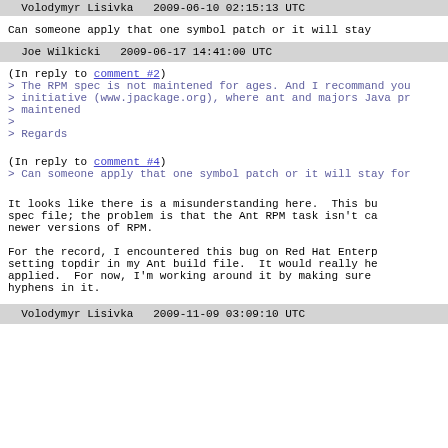Volodymyr Lisivka   2009-06-10 02:15:13 UTC
Can someone apply that one symbol patch or it will stay
Joe Wilkicki   2009-06-17 14:41:00 UTC
(In reply to comment #2)
> The RPM spec is not maintened for ages. And I recommand you
> initiative (www.jpackage.org), where ant and majors Java pr
> maintened
>
> Regards
(In reply to comment #4)
> Can someone apply that one symbol patch or it will stay for
It looks like there is a misunderstanding here.  This bu
spec file; the problem is that the Ant RPM task isn't ca
newer versions of RPM.

For the record, I encountered this bug on Red Hat Enterp
setting topdir in my Ant build file.  It would really he
applied.  For now, I'm working around it by making sure
hyphens in it.
Volodymyr Lisivka   2009-11-09 03:09:10 UTC